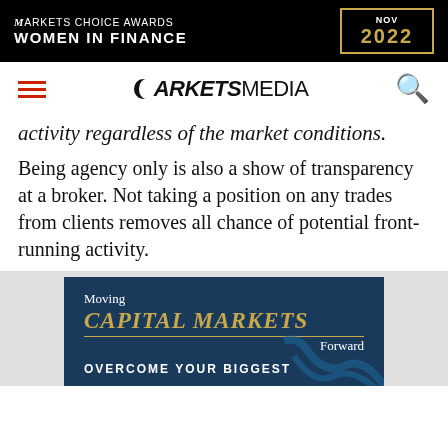[Figure (logo): Markets Choice Awards Women in Finance NOV 2022 banner advertisement on black background]
MARKETS MEDIA navigation bar with hamburger menu and search icon
activity regardless of the market conditions.
Being agency only is also a show of transparency at a broker. Not taking a position on any trades from clients removes all chance of potential front-running activity.
[Figure (illustration): Moving CAPITAL MARKETS Forward - OVERCOME YOUR BIGGEST advertisement on dark navy blue background]